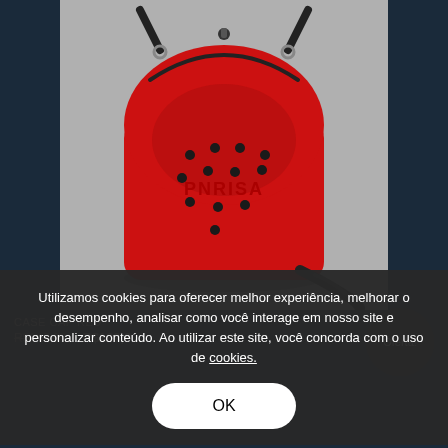[Figure (photo): A red mini backpack-style carrying case with black studs/rivets and embossed PNRISA branding, displayed against a grey background. A black strap is visible at the bottom right.]
CASE CAP RED
R$147,90 • R$109,9...
Oferta!
Utilizamos cookies para oferecer melhor experiência, melhorar o desempenho, analisar como você interage em nosso site e personalizar conteúdo. Ao utilizar este site, você concorda com o uso de cookies.
OK